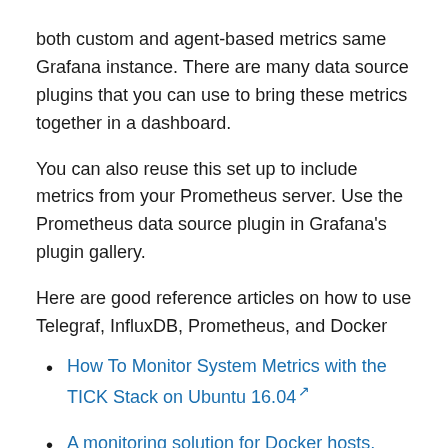both custom and agent-based metrics same Grafana instance. There are many data source plugins that you can use to bring these metrics together in a dashboard.
You can also reuse this set up to include metrics from your Prometheus server. Use the Prometheus data source plugin in Grafana's plugin gallery.
Here are good reference articles on how to use Telegraf, InfluxDB, Prometheus, and Docker
How To Monitor System Metrics with the TICK Stack on Ubuntu 16.04 ↗
A monitoring solution for Docker hosts, containers, and containerized services ↗
Here is an image of a full Grafana dashboard that has metrics from Azure Monitor and Application Insights.